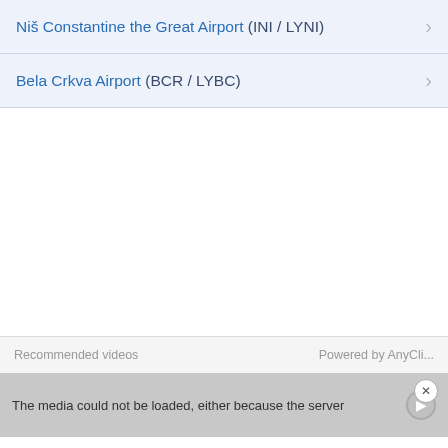Niš Constantine the Great Airport (INI / LYNI)
Bela Crkva Airport (BCR / LYBC)
Recommended videos
Powered by AnyCli...
The media could not be loaded, either because the server